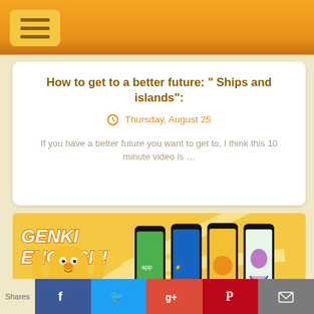[Figure (screenshot): Orange navigation bar with hamburger menu button]
How to get to a better future: “ Ships and islands”:
Thursday, August 25
If you have a better future you want to get to, I think this 10 minute video is …
[Figure (illustration): Genki English banner with mascot character and phones showing app screens]
Have you got all your students enrolled for Genki English Online this year yet?
[Figure (screenshot): Social share bar with Facebook, Twitter, Google+, Pinterest, Email buttons]